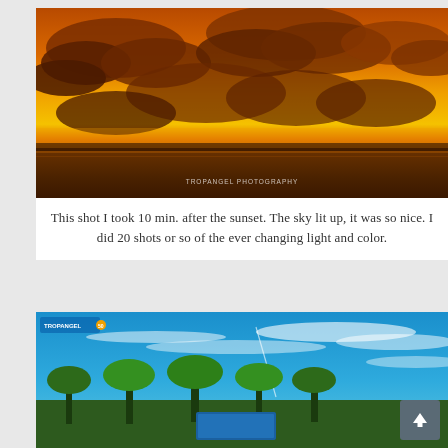[Figure (photo): Dramatic sunset sky with orange and golden clouds over a calm body of water. A watermark reads 'TROPANGEL PHOTOGRAPHY' at the bottom center.]
This shot I took 10 min. after the sunset. The sky lit up, it was so nice. I did 20 shots or so of the ever changing light and color.
[Figure (photo): Bright blue sky with wispy white clouds over tropical palm trees and a blue structure or sign. A small logo/watermark is in the upper left corner. A scroll-to-top button appears in the lower right.]